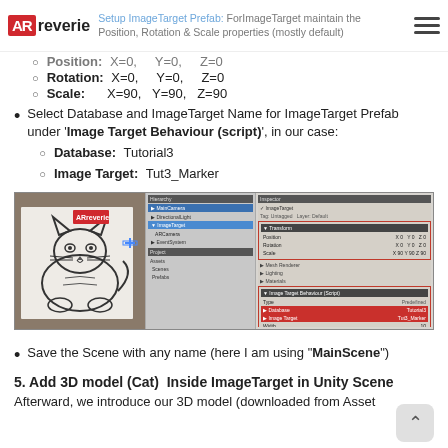Setup ImageTarget Prefab: ForImageTarget maintain the Position, Rotation & Scale properties (mostly default)
Position: X=0, Y=0, Z=0
Rotation: X=0, Y=0, Z=0
Scale: X=90, Y=90, Z=90
Select Database and ImageTarget Name for ImageTarget Prefab under 'Image Target Behaviour (script)', in our case:
Database: Tutorial3
Image Target: Tut3_Marker
[Figure (screenshot): Unity editor screenshot showing ImageTarget setup with a cat drawing AR scene on left, hierarchy panel in middle, and inspector panel on right showing Transform and Image Target Behaviour script with red outlines highlighting Database and Image Target fields]
Save the Scene with any name (here I am using "MainScene")
5. Add 3D model (Cat)  Inside ImageTarget in Unity Scene
Afterward, we introduce our 3D model (downloaded from Asset